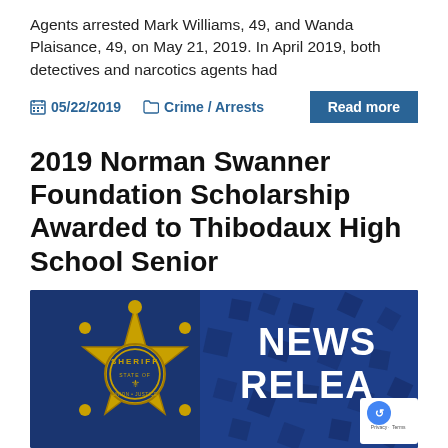Agents arrested Mark Williams, 49, and Wanda Plaisance, 49, on May 21, 2019. In April 2019, both detectives and narcotics agents had
05/22/2019   Crime / Arrests   Read more
2019 Norman Swanner Foundation Scholarship Awarded to Thibodaux High School Senior
[Figure (photo): Sheriff news release banner image showing a gold sheriff badge with 'STATE OF LOUISIANA' and 'UNION JUSTICE' text, set against a dark blue background with 'NEWS RELEASE' text in white on the right side. A reCAPTCHA badge is visible in the bottom right corner.]